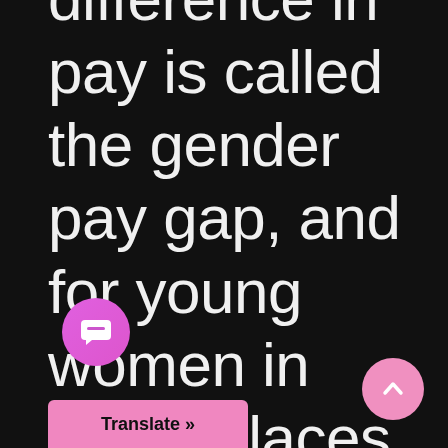difference in pay is called the gender pay gap, and for young women in many places, including Britain and America, the gap is getting
[Figure (other): Purple circular chat/message button icon]
Translate »
[Figure (other): Pink circular scroll-to-top button with upward chevron]